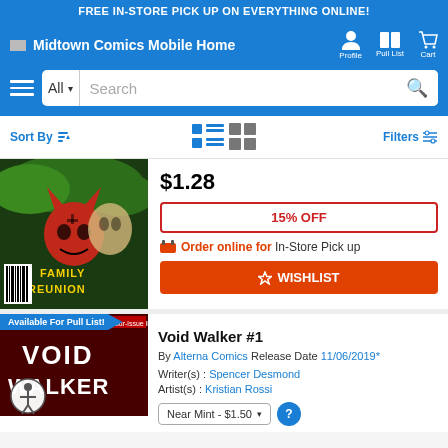FREE IN-STORE PICK UP ON EVERYTHING ONLINE!
[Figure (screenshot): Midtown Comics mobile website navigation bar with logo, Profile, Pull List, and Cart icons]
[Figure (screenshot): Search bar with hamburger menu, All category dropdown, Search input, and search button]
Sort By | view toggle icons | Filters
[Figure (photo): Comic book cover for Family Reunion - shows red demon/devil character with mask]
$1.28
15% OFF
Order online for In-Store Pick up
WISHLIST
Available For Pull List!
[Figure (photo): Comic book cover for Void Walker #1 - shows character with title text]
Void Walker #1
By Alterna Comics Release Date 11/06/2019*
Writer(s) : Spencer Desmond
Artist(s) : Kristian Rossi
Near Mint - $1.50